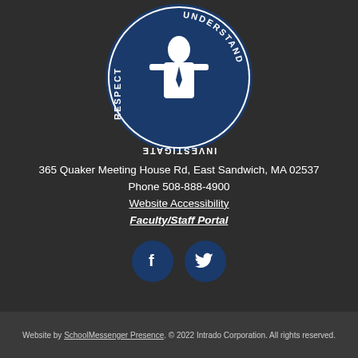[Figure (logo): Circular school seal/logo with a figure in the center, dark navy blue background, text reading UNDERSTAND, INVESTIGATE, RESPECT around the border]
365 Quaker Meeting House Rd, East Sandwich, MA 02537
Phone 508-888-4900
Website Accessibility
Faculty/Staff Portal
[Figure (other): Two circular social media icon buttons: Facebook (f) and Twitter (bird icon), dark navy blue]
Website by SchoolMessenger Presence. © 2022 Intrado Corporation. All rights reserved.